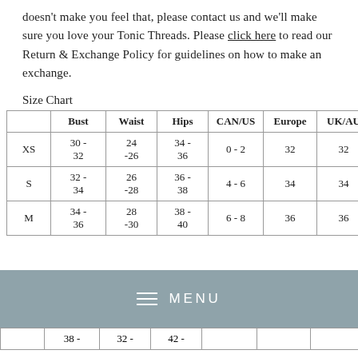doesn't make you feel that, please contact us and we'll make sure you love your Tonic Threads. Please click here to read our Return & Exchange Policy for guidelines on how to make an exchange.
Size Chart
|  | Bust | Waist | Hips | CAN/US | Europe | UK/AU |
| --- | --- | --- | --- | --- | --- | --- |
| XS | 30 - 32 | 24 -26 | 34 - 36 | 0 - 2 | 32 | 32 |
| S | 32 - 34 | 26 -28 | 36 - 38 | 4 - 6 | 34 | 34 |
| M | 34 - 36 | 28 -30 | 38 - 40 | 6 - 8 | 36 | 36 |
|  | 38 - | 32 - | 42 - |  |  |  |
[Figure (screenshot): Mobile menu bar overlay showing hamburger icon and MENU text on a steel-blue background]